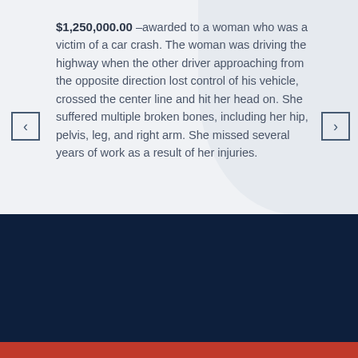$1,250,000.00 –awarded to a woman who was a victim of a car crash. The woman was driving the highway when the other driver approaching from the opposite direction lost control of his vehicle, crossed the center line and hit her head on. She suffered multiple broken bones, including her hip, pelvis, leg, and right arm. She missed several years of work as a result of her injuries.
WHAT OUR CLIENTS SAY
LIVE CHAT › START NOW